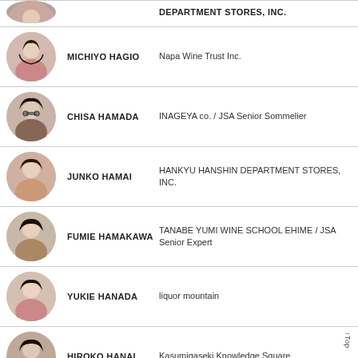[Figure (photo): Partial avatar of a person at top of page (cropped)]
DEPARTMENT STORES, INC.
[Figure (photo): Circular avatar photo of Michiyo Hagio]
MICHIYO HAGIO
Napa Wine Trust Inc.
[Figure (photo): Circular avatar photo of Chisa Hamada]
CHISA HAMADA
INAGEYA co. / JSA Senior Sommelier
[Figure (photo): Circular avatar photo of Junko Hamai]
JUNKO HAMAI
HANKYU HANSHIN DEPARTMENT STORES, INC.
[Figure (photo): Circular avatar photo of Fumie Hamakawa]
FUMIE HAMAKAWA
TANABE YUMI WINE SCHOOL EHIME / JSA Senior Expert
[Figure (photo): Circular avatar photo of Yukie Hanada]
YUKIE HANADA
liquor mountain
[Figure (photo): Circular avatar photo of Hiroko Hanai]
HIROKO HANAI
Kasumigaseki Knowledge Square
↑Top